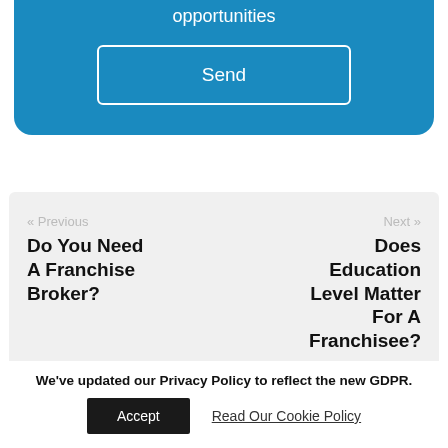opportunities
Send
« Previous
Do You Need A Franchise Broker?
Next »
Does Education Level Matter For A Franchisee?
We've updated our Privacy Policy to reflect the new GDPR.
Accept
Read Our Cookie Policy